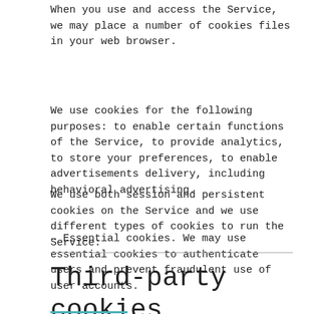When you use and access the Service, we may place a number of cookies files in your web browser.
We use cookies for the following purposes: to enable certain functions of the Service, to provide analytics, to store your preferences, to enable advertisements delivery, including behavioral advertising.
We use both session and persistent cookies on the Service and we use different types of cookies to run the Service:
– Essential cookies. We may use essential cookies to authenticate users and prevent fraudulent use of user accounts.
Third-party cookies